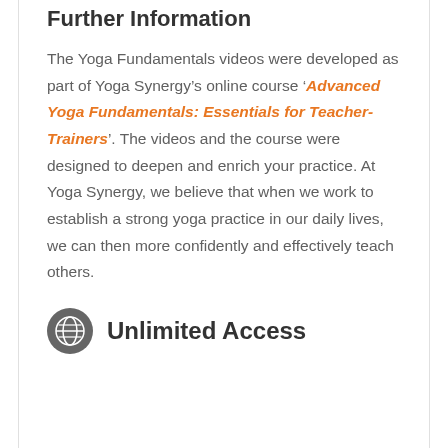Further Information
The Yoga Fundamentals videos were developed as part of Yoga Synergy’s online course ‘Advanced Yoga Fundamentals: Essentials for Teacher-Trainers’. The videos and the course were designed to deepen and enrich your practice. At Yoga Synergy, we believe that when we work to establish a strong yoga practice in our daily lives, we can then more confidently and effectively teach others.
Unlimited Access